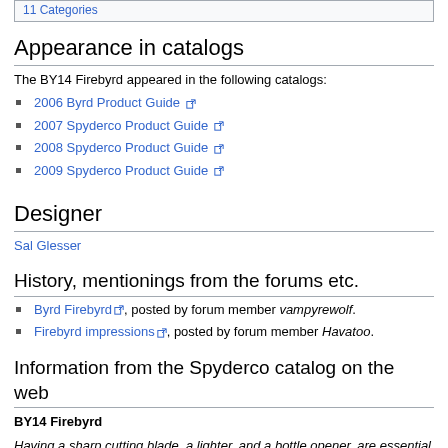11 Categories
Appearance in catalogs
The BY14 Firebyrd appeared in the following catalogs:
2006 Byrd Product Guide
2007 Spyderco Product Guide
2008 Spyderco Product Guide
2009 Spyderco Product Guide
Designer
Sal Glesser
History, mentionings from the forums etc.
Byrd Firebyrd, posted by forum member vampyrewolf.
Firebyrd impressions, posted by forum member Havatoo.
Information from the Spyderco catalog on the web
BY14 Firebyrd
Having a sharp cutting blade, a lighter, and a bottle opener, are essential